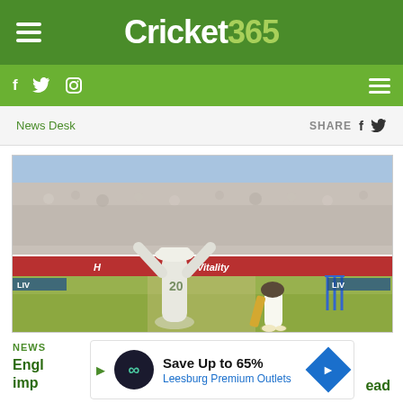Cricket 365
[Figure (screenshot): Cricket match photo: batsman playing a shot, fielder with arms raised celebrating, stumps visible, full crowd in background, advertising boards including 'Vitality', sunny day at cricket ground]
News Desk
SHARE
NEWS
Save Up to 65%
Leesburg Premium Outlets
Engl
imp
ead